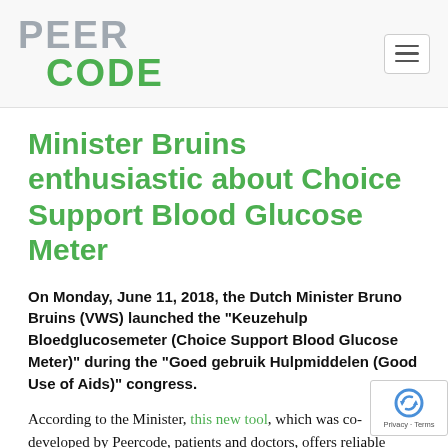PEER CODE
Minister Bruins enthusiastic about Choice Support Blood Glucose Meter
On Monday, June 11, 2018, the Dutch Minister Bruno Bruins (VWS) launched the “Keuzehulp Bloedglucosemeter (Choice Support Blood Glucose Meter)” during the “Goed gebruik Hulpmiddelen (Good Use of Aids)” congress.
According to the Minister, this new tool, which was co-developed by Peercode, patients and doctors, offers reliable information for finding the right blood glucose meter. Based on this information, they can decide together on the best and most appropriate care for the medical and personal